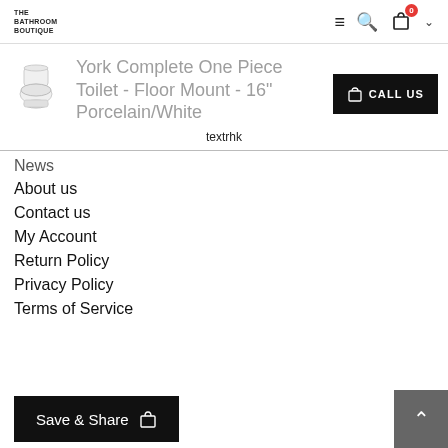THE BATHROOM BOUTIQUE
York Complete One Piece Toilet - Floor Mount - 16" Porcelain/White
textrhk
News
About us
Contact us
My Account
Return Policy
Privacy Policy
Terms of Service